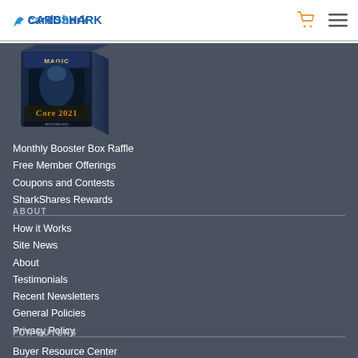CardShark
[Figure (illustration): Magic: The Gathering Core 2021 booster box product image on dark background]
Monthly Booster Box Raffle
Free Member Offerings
Coupons and Contests
SharkShares Rewards
ABOUT
How it Works
Site News
About
Testimonials
Recent Newsletters
General Policies
Privacy Policy
FOR BUYERS
Buyer Resource Center